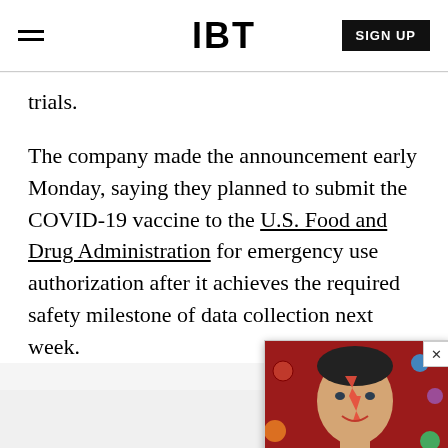IBT | SIGN UP
trials.
The company made the announcement early Monday, saying they planned to submit the COVID-19 vaccine to the U.S. Food and Drug Administration for emergency use authorization after it achieves the required safety milestone of data collection next week.
[Figure (screenshot): Video overlay widget showing a thumbnail image of a person with face paint on a red background with planet/ball decorations, with a black bottom bar reading 'Top Articles' and a close button (X) in the top right corner]